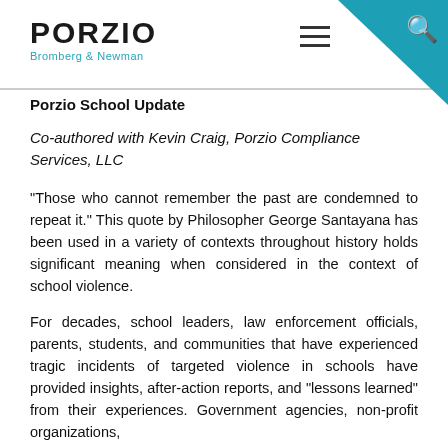[Figure (logo): Porzio Bromberg & Newman law firm logo with teal text on white background, hamburger menu icon, and search icon on teal triangle corner]
Porzio School Update
Co-authored with Kevin Craig, Porzio Compliance Services, LLC
"Those who cannot remember the past are condemned to repeat it." This quote by Philosopher George Santayana has been used in a variety of contexts throughout history holds significant meaning when considered in the context of school violence.
For decades, school leaders, law enforcement officials, parents, students, and communities that have experienced tragic incidents of targeted violence in schools have provided insights, after-action reports, and "lessons learned" from their experiences. Government agencies, non-profit organizations,